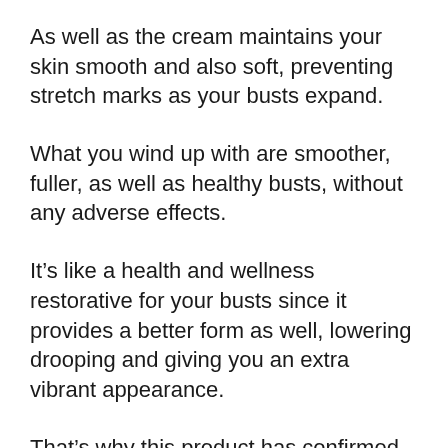As well as the cream maintains your skin smooth and also soft, preventing stretch marks as your busts expand.
What you wind up with are smoother, fuller, as well as healthy busts, without any adverse effects.
It’s like a health and wellness restorative for your busts since it provides a better form as well, lowering drooping and giving you an extra vibrant appearance.
That’s why this product has confirmed not only popular for ladies with little breasts, but additionally for those who are older as well as wish to provide their bosom an entire new burst of life.